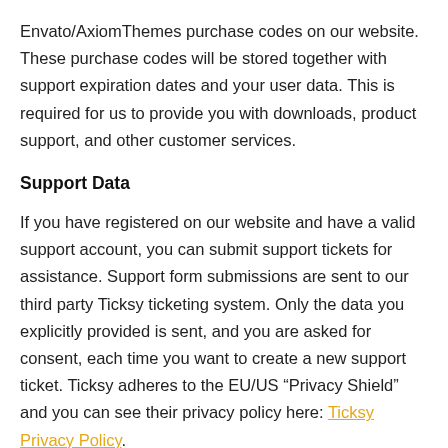Envato/AxiomThemes purchase codes on our website. These purchase codes will be stored together with support expiration dates and your user data. This is required for us to provide you with downloads, product support, and other customer services.
Support Data
If you have registered on our website and have a valid support account, you can submit support tickets for assistance. Support form submissions are sent to our third party Ticksy ticketing system. Only the data you explicitly provided is sent, and you are asked for consent, each time you want to create a new support ticket. Ticksy adheres to the EU/US “Privacy Shield” and you can see their privacy policy here: Ticksy Privacy Policy.
Comments